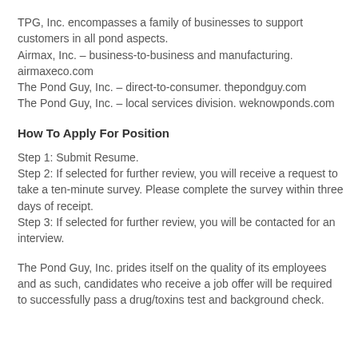TPG, Inc. encompasses a family of businesses to support customers in all pond aspects.
Airmax, Inc. – business-to-business and manufacturing. airmaxeco.com
The Pond Guy, Inc. – direct-to-consumer. thepondguy.com
The Pond Guy, Inc. – local services division. weknowponds.com
How To Apply For Position
Step 1: Submit Resume.
Step 2: If selected for further review, you will receive a request to take a ten-minute survey. Please complete the survey within three days of receipt.
Step 3: If selected for further review, you will be contacted for an interview.
The Pond Guy, Inc. prides itself on the quality of its employees and as such, candidates who receive a job offer will be required to successfully pass a drug/toxins test and background check.